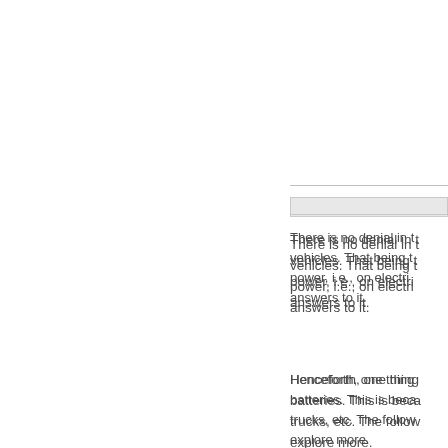There is no denial in the fact that the world is moving towards electric vehicles. That being the case, everyone needs to think of alternatives to power, i.e., on electric power, and the lithium-ion battery is one of the answers to it.
Henceforth, one thing that needs attention for such vehicles is their batteries. This is because they are going to be used in cars, bikes, trucks, etc. The following article provides some facts about it. Let us explore more.
How much does Li i…
Well, to begin with, th…